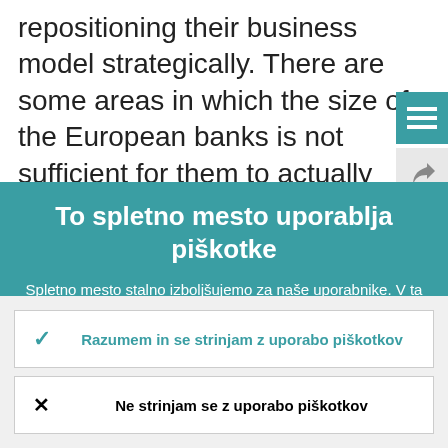repositioning their business model strategically. There are some areas in which the size of the European banks is not sufficient for them to actually punch their
[Figure (screenshot): Teal hamburger menu button in top right corner]
[Figure (screenshot): Share icon button below menu button]
To spletno mesto uporablja piškotke
Spletno mesto stalno izboljšujemo za naše uporabnike. V ta namen uporabljamo anonimne podatke, ki jih pridobivamo s piškotki.
Več o tem, kako uporabljamo piškotke
Razumem in se strinjam z uporabo piškotkov
Ne strinjam se z uporabo piškotkov